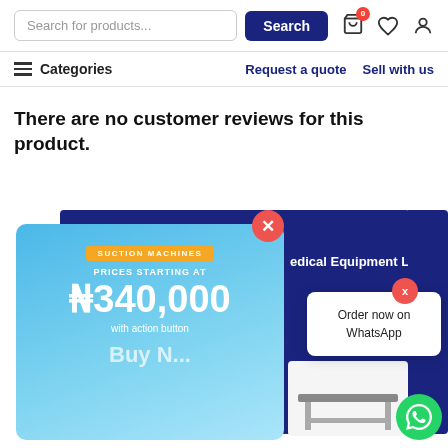Search for products... Search
≡ Categories   Request a quote   Sell with us
There are no customer reviews for this product.
[Figure (screenshot): E-commerce popup advertisement showing Suction Machines with prices starting at N340,000 with action button, overlaid on a medical equipment website. Also shows an 'Order now on WhatsApp' popup and a green WhatsApp FAB button.]